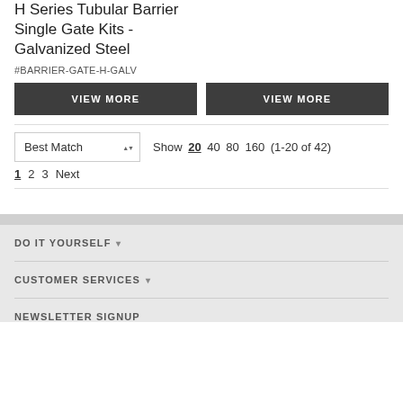H Series Tubular Barrier Single Gate Kits - Galvanized Steel
#BARRIER-GATE-H-GALV
VIEW MORE  VIEW MORE
Show 20  40  80  160  (1-20 of 42)
1  2  3  Next
DO IT YOURSELF
CUSTOMER SERVICES
NEWSLETTER SIGNUP